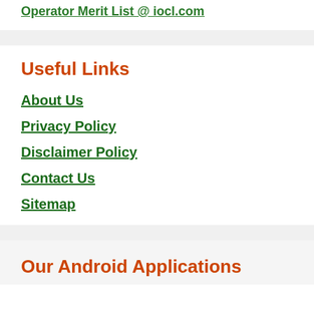Operator Merit List @ iocl.com
Useful Links
About Us
Privacy Policy
Disclaimer Policy
Contact Us
Sitemap
Our Android Applications